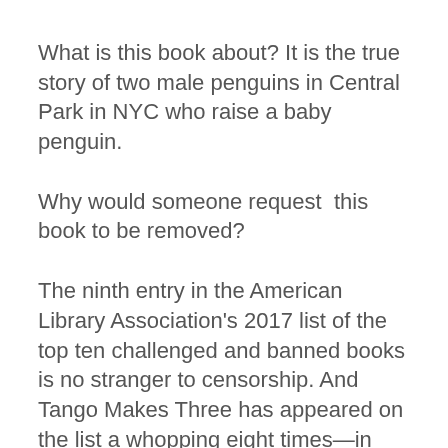What is this book about? It is the true story of two male penguins in Central Park in NYC who raise a baby penguin.
Why would someone request  this book to be removed?
The ninth entry in the American Library Association's 2017 list of the top ten challenged and banned books is no stranger to censorship. And Tango Makes Three has appeared on the list a whopping eight times—in 2017, 2014, 2012, 2010, 2009, 2008, 2007, and 2006—for challenges that mostly distill down to the book's depiction of a